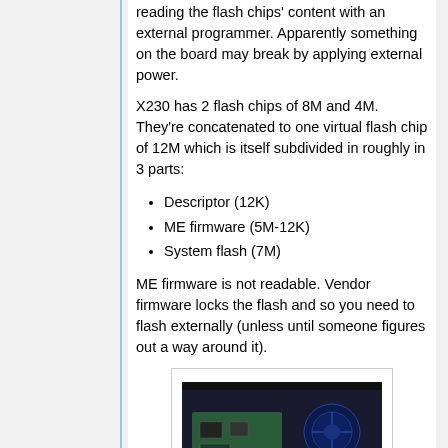reading the flash chips' content with an external programmer. Apparently something on the board may break by applying external power.
X230 has 2 flash chips of 8M and 4M. They're concatenated to one virtual flash chip of 12M which is itself subdivided in roughly in 3 parts:
Descriptor (12K)
ME firmware (5M-12K)
System flash (7M)
ME firmware is not readable. Vendor firmware locks the flash and so you need to flash externally (unless until someone figures out a way around it).
[Figure (photo): Photo of laptop motherboard/internals showing circuit board components]